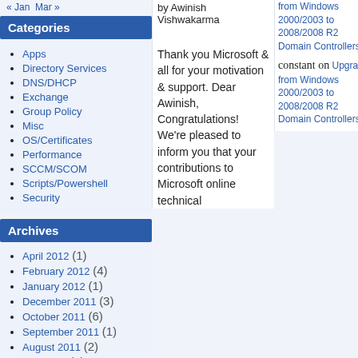« Jan   Mar »
Categories
Apps
Directory Services
DNS/DHCP
Exchange
Group Policy
Misc
OS/Certificates
Performance
SCCM/SCOM
Scripts/Powershell
Security
Archives
April 2012 (1)
February 2012 (4)
January 2012 (1)
December 2011 (3)
October 2011 (6)
September 2011 (1)
August 2011 (2)
July 2011 (4)
by Awinish Vishwakarma
Thank you Microsoft & all for your motivation & support. Dear Awinish, Congratulations! We're pleased to inform you that your contributions to Microsoft online technical
from Windows 2000/2003 to 2008/2008 R2 Domain Controllers
constant on Upgrade from Windows 2000/2003 to 2008/2008 R2 Domain Controllers